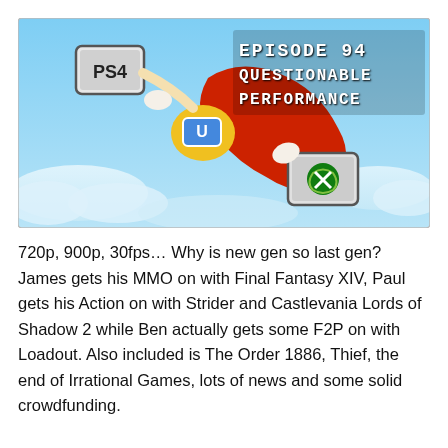[Figure (illustration): Podcast episode art showing animated characters skydiving, with PS4, Wii U, and Xbox logos on their suits. Text reads 'EPISODE 94 QUESTIONABLE PERFORMANCE' in a pixel/retro font on a blue sky background.]
720p, 900p, 30fps… Why is new gen so last gen? James gets his MMO on with Final Fantasy XIV, Paul gets his Action on with Strider and Castlevania Lords of Shadow 2 while Ben actually gets some F2P on with Loadout. Also included is The Order 1886, Thief, the end of Irrational Games, lots of news and some solid crowdfunding.